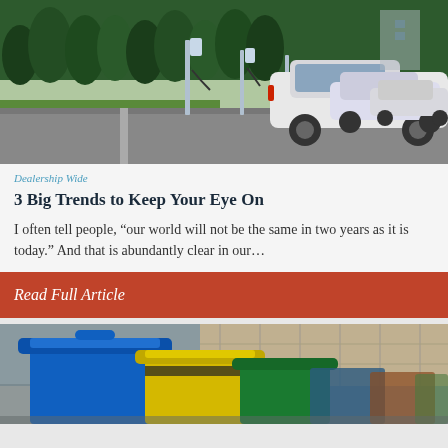[Figure (photo): Row of white electric cars charging at outdoor EV charging stations with green trees and grass in background]
Dealership Wide
3 Big Trends to Keep Your Eye On
I often tell people, “our world will not be the same in two years as it is today.” And that is abundantly clear in our…
Read Full Article
[Figure (photo): Row of colorful recycling bins (blue, yellow, green) viewed from above at an angle]